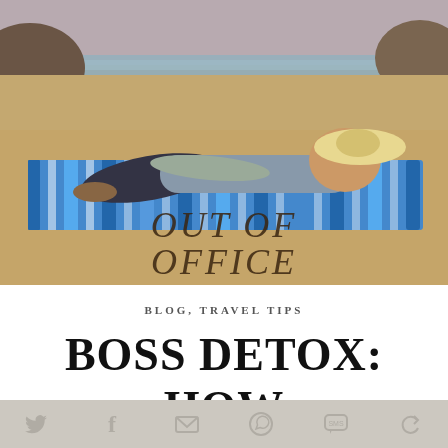[Figure (photo): Person lying on a blue striped beach towel on sandy beach, with 'OUT OF OFFICE' written in the sand below them. Rocky coastline visible in background.]
BLOG, TRAVEL TIPS
BOSS DETOX: HOW
[Figure (other): Social sharing bar with icons for Twitter, Facebook, Email, WhatsApp, SMS, and share]